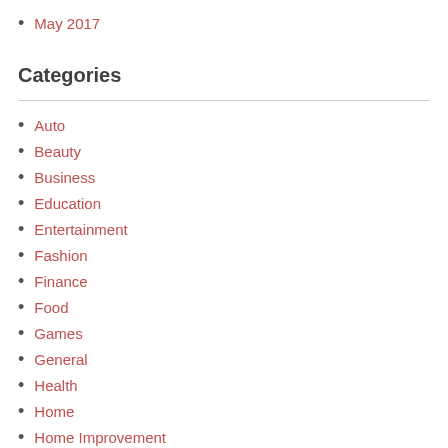May 2017
Categories
Auto
Beauty
Business
Education
Entertainment
Fashion
Finance
Food
Games
General
Health
Home
Home Improvement